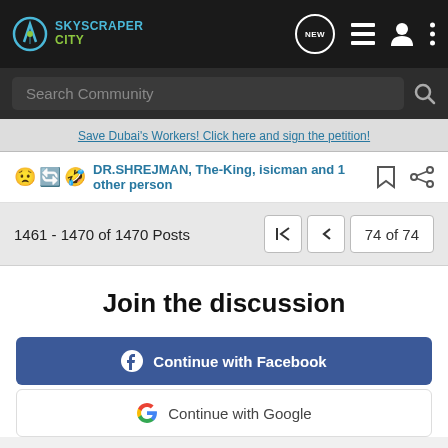SkyscraperCity
Search Community
Save Dubai's Workers! Click here and sign the petition!
DR.SHREJMAN, The-King, isicman and 1 other person
1461 - 1470 of 1470 Posts
74 of 74
Join the discussion
Continue with Facebook
Continue with Google